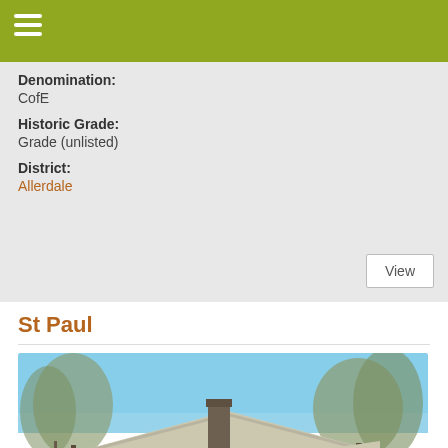Denomination:
CofE
Historic Grade:
Grade (unlisted)
District:
Allerdale
St Paul
[Figure (photo): Exterior photograph of St Paul church building with bare winter trees and blue sky background]